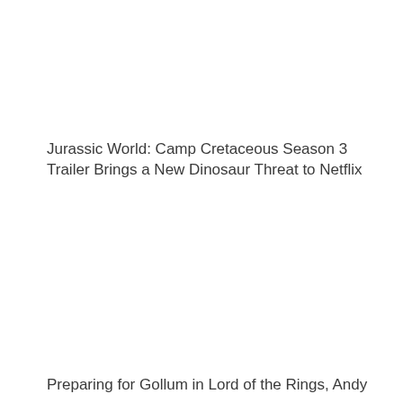Jurassic World: Camp Cretaceous Season 3 Trailer Brings a New Dinosaur Threat to Netflix
Preparing for Gollum in Lord of the Rings, Andy